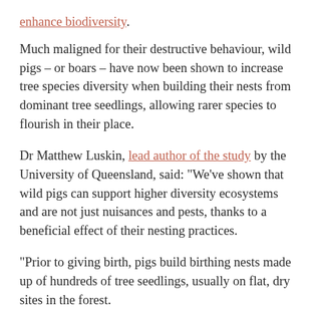enhance biodiversity.
Much maligned for their destructive behaviour, wild pigs – or boars – have now been shown to increase tree species diversity when building their nests from dominant tree seedlings, allowing rarer species to flourish in their place.
Dr Matthew Luskin, lead author of the study by the University of Queensland, said: “We’ve shown that wild pigs can support higher diversity ecosystems and are not just nuisances and pests, thanks to a beneficial effect of their nesting practices.
“Prior to giving birth, pigs build birthing nests made up of hundreds of tree seedlings, usually on flat, dry sites in the forest.